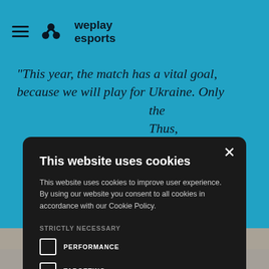[Figure (screenshot): WePlay Esports website header with hamburger menu icon and WePlay Esports logo on cyan/light blue background]
"This year, the match has a vital goal, because we will play for Ukraine. Only the … Thus, … nce — … ll show … ost," says … rcin
This website uses cookies
This website uses cookies to improve user experience. By using our website you consent to all cookies in accordance with our Cookie Policy.
STRICTLY NECESSARY
PERFORMANCE
TARGETING
ACCEPT ALL
DECLINE ALL
SHOW DETAILS